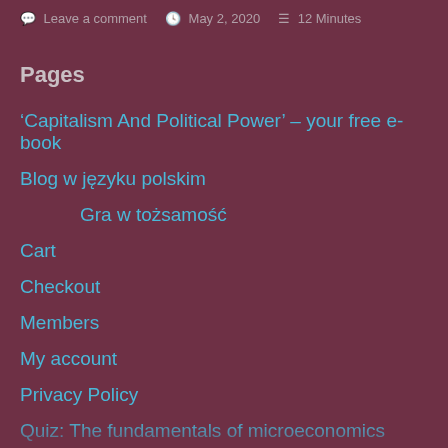Leave a comment   May 2, 2020   12 Minutes
Pages
‘Capitalism And Political Power’ – your free e-book
Blog w języku polskim
Gra w tożsamość
Cart
Checkout
Members
My account
Privacy Policy
Quiz: The fundamentals of microeconomics
Shop
The Broken Planet Calculator